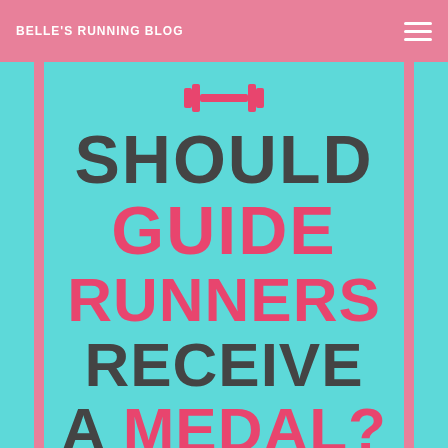BELLE'S RUNNING BLOG
[Figure (illustration): Blog article header image on teal background with pink side bars. Shows a dumbbell icon at top, large bold text reading 'SHOULD GUIDE RUNNERS RECEIVE A MEDAL?' in alternating dark grey and hot pink, and a partial medal illustration at the bottom.]
SHOULD GUIDE RUNNERS RECEIVE A MEDAL?